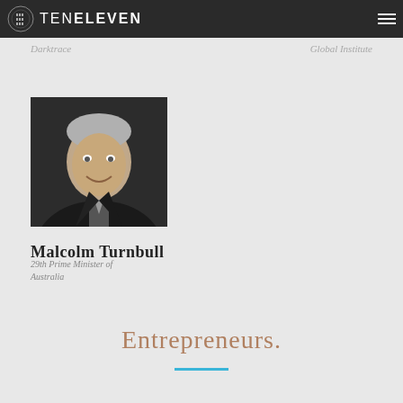TENELEVEN
Darktrace
Global Institute
[Figure (photo): Black and white headshot of Malcolm Turnbull in a suit and tie, smiling slightly, against a dark background.]
Malcolm Turnbull
29th Prime Minister of Australia
Entrepreneurs.